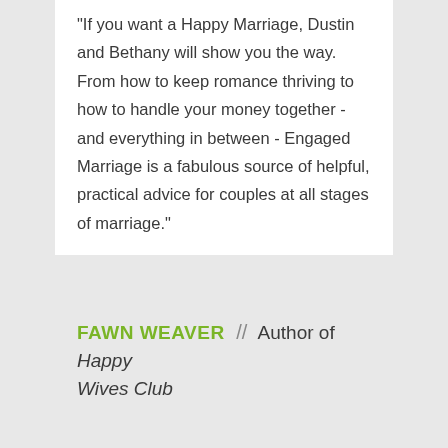"If you want a Happy Marriage, Dustin and Bethany will show you the way. From how to keep romance thriving to how to handle your money together - and everything in between - Engaged Marriage is a fabulous source of helpful, practical advice for couples at all stages of marriage."
FAWN WEAVER // Author of Happy Wives Club